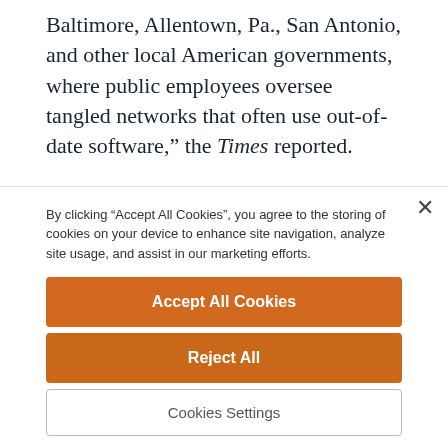Baltimore, Allentown, Pa., San Antonio, and other local American governments, where public employees oversee tangled networks that often use out-of-date software,” the Times reported.
According to the First Judicial District, Trial Division civil filings are being accepted in person in Room 296 of City Hall; Municipal Court civil filings at the
By clicking “Accept All Cookies”, you agree to the storing of cookies on your device to enhance site navigation, analyze site usage, and assist in our marketing efforts.
Accept All Cookies
Reject All
Cookies Settings